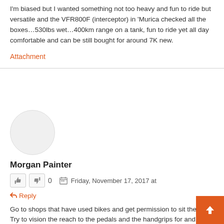I'm biased but I wanted something not too heavy and fun to ride but versatile and the VFR800F (interceptor) in 'Murica checked all the boxes…530lbs wet…400km range on a tank, fun to ride yet all day comfortable and can be still bought for around 7K new.
Attachment
[Figure (illustration): User avatar: empty circular placeholder]
Morgan Painter
0  Friday, November 17, 2017 at
Reply
Go to shops that have used bikes and get permission to sit them. Try to vision the reach to the pedals and the handgrips for and hour at a time. Are you stretching, is it comfortable?